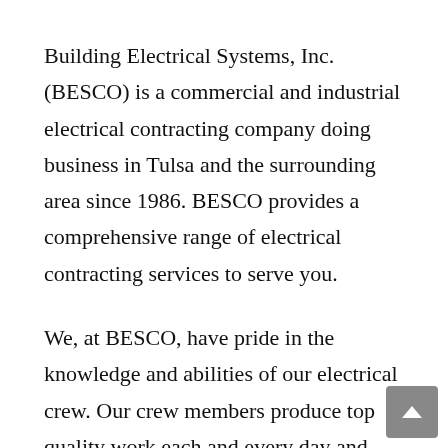Building Electrical Systems, Inc. (BESCO) is a commercial and industrial electrical contracting company doing business in Tulsa and the surrounding area since 1986. BESCO provides a comprehensive range of electrical contracting services to serve you.
We, at BESCO, have pride in the knowledge and abilities of our electrical crew. Our crew members produce top quality work each and every day and continually strive for excellent service, safe work practices and reliability to ensure long-term relationships with our customers. Quality is the keystone in which Building Electrical Systems, Inc.